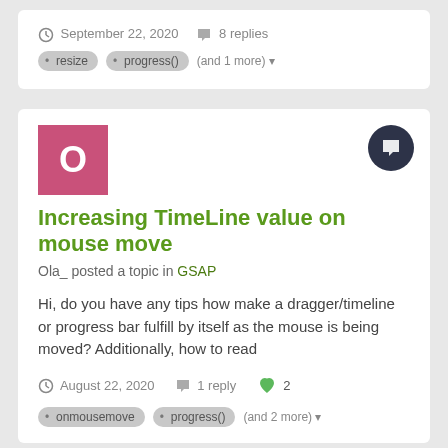September 22, 2020   8 replies
resize   progress()   (and 1 more)
Increasing TimeLine value on mouse move
Ola_ posted a topic in GSAP
Hi, do you have any tips how make a dragger/timeline or progress bar fulfill by itself as the mouse is being moved? Additionally, how to read
August 22, 2020   1 reply   2
onmousemove   progress()   (and 2 more)
Return to initial state of timeline from another timeline
N_ posted a topic in GSAP